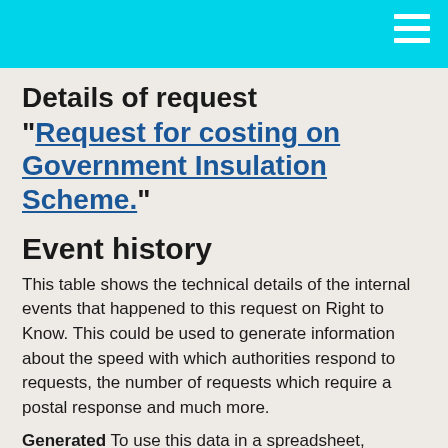Details of request “Request for costing on Government Insulation Scheme.”
Event history
This table shows the technical details of the internal events that happened to this request on Right to Know. This could be used to generate information about the speed with which authorities respond to requests, the number of requests which require a postal response and much more.
Generated To use this data in a spreadsheet,